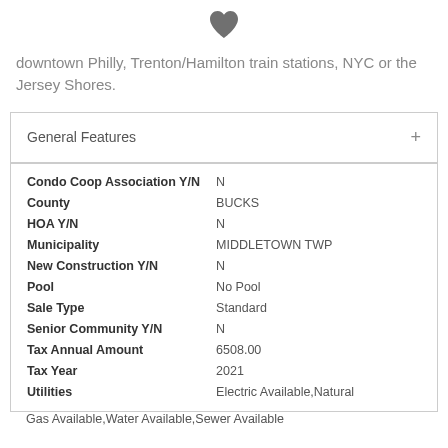[Figure (illustration): Dark grey heart icon centered at top of page]
downtown Philly, Trenton/Hamilton train stations, NYC or the Jersey Shores.
General Features
| Condo Coop Association Y/N | N |
| County | BUCKS |
| HOA Y/N | N |
| Municipality | MIDDLETOWN TWP |
| New Construction Y/N | N |
| Pool | No Pool |
| Sale Type | Standard |
| Senior Community Y/N | N |
| Tax Annual Amount | 6508.00 |
| Tax Year | 2021 |
| Utilities | Electric Available,Natural Gas Available,Water Available,Sewer Available |